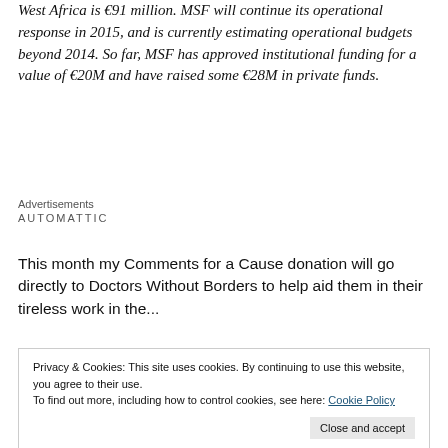West Africa is €91 million. MSF will continue its operational response in 2015, and is currently estimating operational budgets beyond 2014. So far, MSF has approved institutional funding for a value of €20M and have raised some €28M in private funds.
Advertisements
AUTOMATTIC
This month my Comments for a Cause donation will go directly to Doctors Without Borders to help aid them in their tireless work in the...
Privacy & Cookies: This site uses cookies. By continuing to use this website, you agree to their use.
To find out more, including how to control cookies, see here: Cookie Policy
Close and accept
Life during December we will donate 50 cents to the